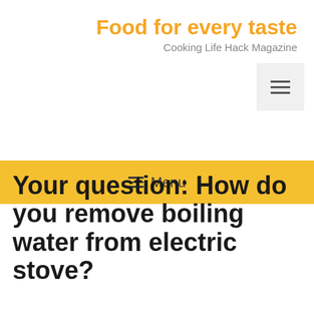Food for every taste
Cooking Life Hack Magazine
≡ Menu
Your question: How do you remove boiling water from electric stove?